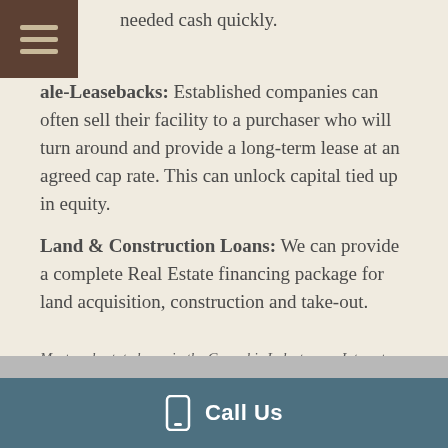needed cash quickly.
Sale-Leasebacks: Established companies can often sell their facility to a purchaser who will turn around and provide a long-term lease at an agreed cap rate. This can unlock capital tied up in equity.
Land & Construction Loans: We can provide a complete Real Estate financing package for land acquisition, construction and take-out.
Most real estate loans in the Cannabis Industry are Interest only for two years with some extension options. Interest rates are between 9.5% - 12% with closing points dependent on size and underwriting. Personal Guaranties are generally required.
Call Us